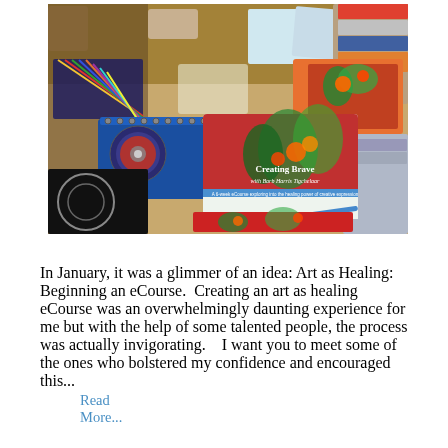[Figure (photo): A cluttered art studio table covered with colored pencils, sketchbooks, art prints, a CD, and various art supplies. A prominent card in the center reads 'Creating Brave' with a floral/tropical design.]
In January, it was a glimmer of an idea: Art as Healing: Beginning an eCourse.  Creating an art as healing eCourse was an overwhelmingly daunting experience for me but with the help of some talented people, the process was actually invigorating.   I want you to meet some of the ones who bolstered my confidence and encouraged this...
Read More...